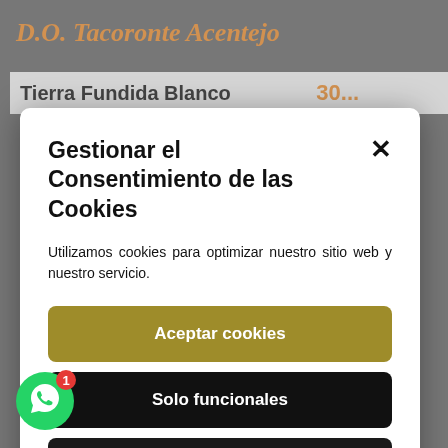D.O. Tacoronte Acentejo
Tierra Fundida Blanco
Gestionar el Consentimiento de las Cookies
Utilizamos cookies para optimizar nuestro sitio web y nuestro servicio.
Aceptar cookies
Solo funcionales
Ver preferencias